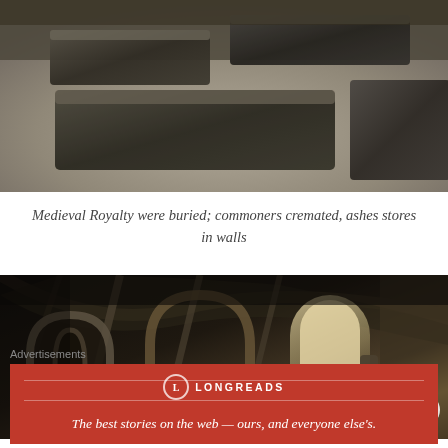[Figure (photo): Photograph of medieval stone sarcophagi/burial tombs lying on a gravel surface, viewed from above at an angle. The stone coffins appear dark, weathered with moss, arranged in rows.]
Medieval Royalty were buried; commoners cremated, ashes stores in walls
[Figure (photo): Photograph of the interior of a medieval stone abbey or cathedral, looking up at ribbed vaulted stone ceiling and arched windows. Light streams through a tall arched window. The stonework is detailed with ornate carved capitals.]
Advertisements
[Figure (other): Longreads advertisement banner with red background. Shows Longreads logo (circular L icon) and tagline: The best stories on the web — ours, and everyone else's.]